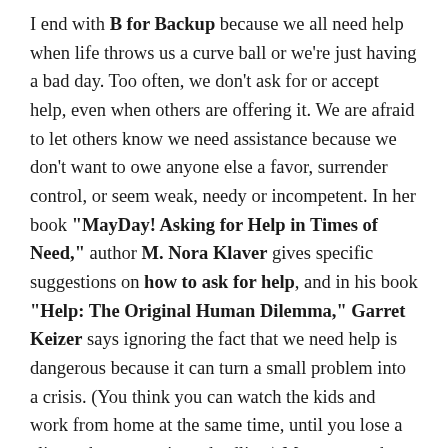I end with B for Backup because we all need help when life throws us a curve ball or we're just having a bad day. Too often, we don't ask for or accept help, even when others are offering it. We are afraid to let others know we need assistance because we don't want to owe anyone else a favor, surrender control, or seem weak, needy or incompetent. In her book "MayDay! Asking for Help in Times of Need," author M. Nora Klaver gives specific suggestions on how to ask for help, and in his book "Help: The Original Human Dilemma," Garret Keizer says ignoring the fact that we need help is dangerous because it can turn a small problem into a crisis. (You think you can watch the kids and work from home at the same time, until you lose a client when you miss a deadline.) Many moms have a village of family and friends around them who want to help, but they resist reaching out. In "Daring Greatly," author Brene Brown...